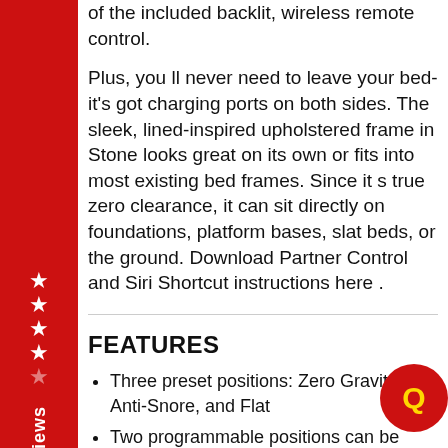of the included backlit, wireless remote control.
Plus, you ll never need to leave your bed-it's got charging ports on both sides. The sleek, lined-inspired upholstered frame in Stone looks great on its own or fits into most existing bed frames. Since it s true zero clearance, it can sit directly on foundations, platform bases, slat beds, or the ground. Download Partner Control and Siri Shortcut instructions here .
FEATURES
Three preset positions: Zero Gravity, Anti-Snore, and Flat
Two programmable positions can be programmed and saved
Backlit wireless remote control battery